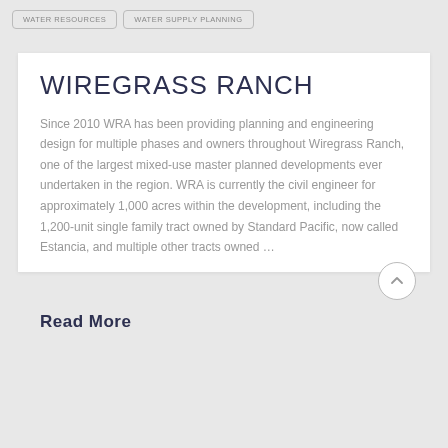WATER RESOURCES
WATER SUPPLY PLANNING
WIREGRASS RANCH
Since 2010 WRA has been providing planning and engineering design for multiple phases and owners throughout Wiregrass Ranch, one of the largest mixed-use master planned developments ever undertaken in the region. WRA is currently the civil engineer for approximately 1,000 acres within the development, including the 1,200-unit single family tract owned by Standard Pacific, now called Estancia, and multiple other tracts owned …
Read More